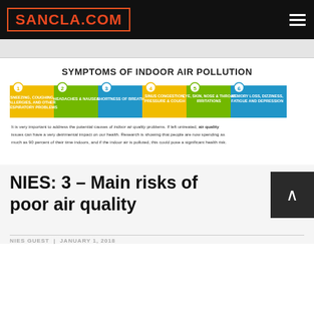SANCLA.COM
[Figure (infographic): Infographic titled 'SYMPTOMS OF INDOOR AIR POLLUTION' showing 6 numbered steps in colored arrow shapes: 1. Sneezing, coughing, allergies, and other respiratory problems (yellow); 2. Headaches & nausea (green); 3. Shortness of breath (blue); 4. Sinus congestion, pressure & cough (yellow); 5. Eye, Skin, Nose & Throat Irritations (green); 6. Memory loss, dizziness, fatigue and depression (blue). Below: text reading 'It is very important to address the potential causes of indoor air quality problems. If left untreated, air quality issues can have a very detrimental impact on our health. Research is showing that people are now spending as much as 90 percent of their time indoors, and if the indoor air is polluted, this could pose a significant health risk.']
NIES: 3 – Main risks of poor air quality